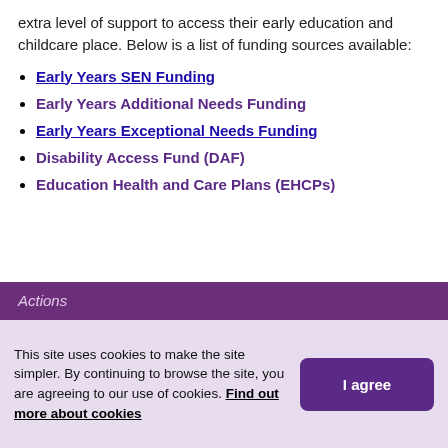extra level of support to access their early education and childcare place. Below is a list of funding sources available:
Early Years SEN Funding
Early Years Additional Needs Funding
Early Years Exceptional Needs Funding
Disability Access Fund (DAF)
Education Health and Care Plans (EHCPs)
Actions
This site uses cookies to make the site simpler. By continuing to browse the site, you are agreeing to our use of cookies. Find out more about cookies